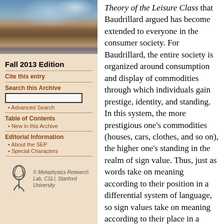[Figure (photo): Photo of a stone university building with courtyard and blue sky with clouds]
Fall 2013 Edition
Cite this entry
Search this Archive
• Advanced Search
Table of Contents
• New in this Archive
Editorial Information
• About the SEP
• Special Characters
© Metaphysics Research Lab, CSLI, Stanford University
Theory of the Leisure Class that Baudrillard argued has become extended to everyone in the consumer society. For Baudrillard, the entire society is organized around consumption and display of commodities through which individuals gain prestige, identity, and standing. In this system, the more prestigious one's commodities (houses, cars, clothes, and so on), the higher one's standing in the realm of sign value. Thus, just as words take on meaning according to their position in a differential system of language, so sign values take on meaning according to their place in a differential system of prestige